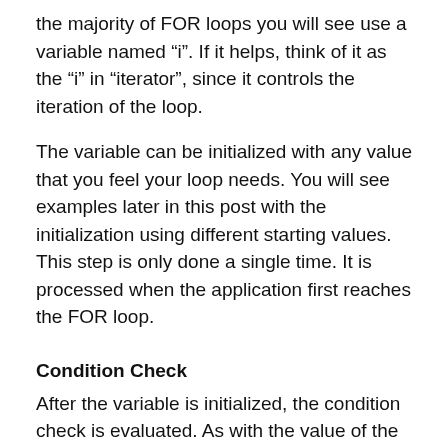the majority of FOR loops you will see use a variable named “i”. If it helps, think of it as the “i” in “iterator”, since it controls the iteration of the loop.
The variable can be initialized with any value that you feel your loop needs. You will see examples later in this post with the initialization using different starting values.
This step is only done a single time. It is processed when the application first reaches the FOR loop.
Condition Check
After the variable is initialized, the condition check is evaluated. As with the value of the variable, the condition check can be whatever you feel is need